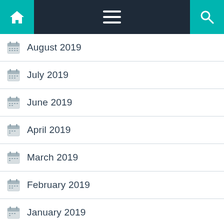Navigation bar with home, menu, and search icons
August 2019
July 2019
June 2019
April 2019
March 2019
February 2019
January 2019
December 2018
November 2018
September 2018